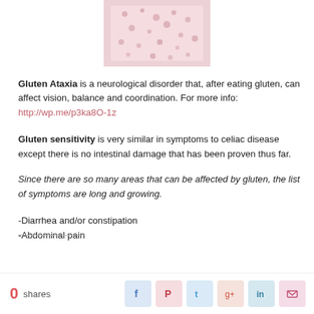[Figure (photo): Close-up photo of skin showing small pink/red spots or bumps, possibly a rash related to gluten sensitivity]
Gluten Ataxia is a neurological disorder that, after eating gluten, can affect vision, balance and coordination. For more info: http://wp.me/p3ka8O-1z
Gluten sensitivity is very similar in symptoms to celiac disease except there is no intestinal damage that has been proven thus far.
Since there are so many areas that can be affected by gluten, the list of symptoms are long and growing.
-Diarrhea and/or constipation
-Abdominal pain
0 shares